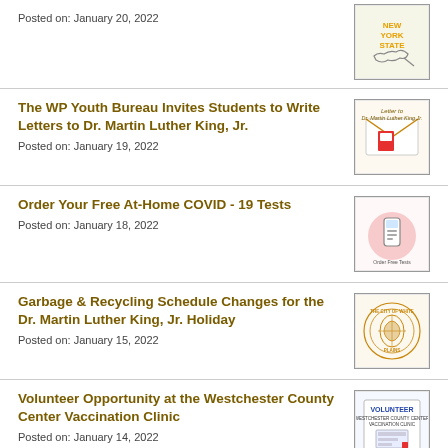Posted on: January 20, 2022
[Figure (illustration): New York State map graphic]
The WP Youth Bureau Invites Students to Write Letters to Dr. Martin Luther King, Jr.
Posted on: January 19, 2022
[Figure (illustration): MLK letter writing event flyer thumbnail]
Order Your Free At-Home COVID-19 Tests
Posted on: January 18, 2022
[Figure (illustration): COVID-19 at-home test ordering graphic]
Garbage & Recycling Schedule Changes for the Dr. Martin Luther King, Jr. Holiday
Posted on: January 15, 2022
[Figure (logo): City of White Plains seal]
Volunteer Opportunity at the Westchester County Center Vaccination Clinic
Posted on: January 14, 2022
[Figure (illustration): Volunteer opportunity flyer thumbnail]